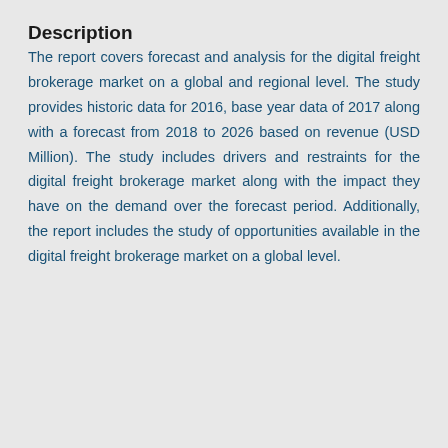Description
The report covers forecast and analysis for the digital freight brokerage market on a global and regional level. The study provides historic data for 2016, base year data of 2017 along with a forecast from 2018 to 2026 based on revenue (USD Million). The study includes drivers and restraints for the digital freight brokerage market along with the impact they have on the demand over the forecast period. Additionally, the report includes the study of opportunities available in the digital freight brokerage market on a global level.